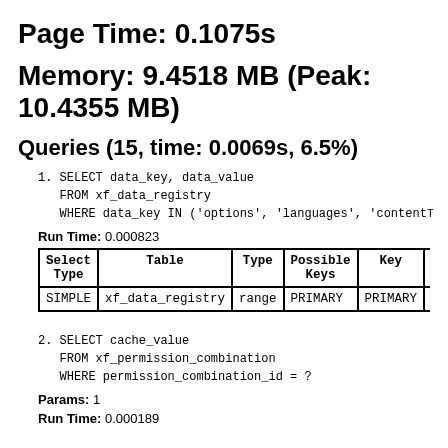Page Time: 0.1075s
Memory: 9.4518 MB (Peak: 10.4355 MB)
Queries (15, time: 0.0069s, 6.5%)
1. SELECT data_key, data_value
   FROM xf_data_registry
   WHERE data_key IN ('options', 'languages', 'content…
Run Time: 0.000823
| Select Type | Table | Type | Possible Keys | Key | Key Len |
| --- | --- | --- | --- | --- | --- |
| SIMPLE | xf_data_registry | range | PRIMARY | PRIMARY | 27 |
2. SELECT cache_value
   FROM xf_permission_combination
   WHERE permission_combination_id = ?
Params: 1
Run Time: 0.000189